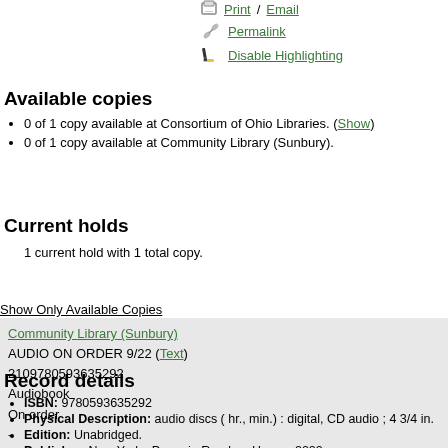Print / Email
Permalink
Disable Highlighting
Available copies
0 of 1 copy available at Consortium of Ohio Libraries. (Show)
0 of 1 copy available at Community Library (Sunbury).
Current holds
1 current hold with 1 total copy.
Show Only Available Copies
| Community Library (Sunbury) |
| AUDIO ON ORDER 9/22 (Text) |
| 2109780593635292 |
| Audiobook |
| On order |
| - |
Record details
ISBN: 9780593635292
Physical Description: audio discs ( hr., min.) : digital, CD audio ; 4 3/4 in.
Edition: Unabridged.
Publisher: New York : Penguin Random House, 2022.